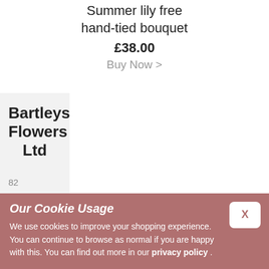Summer lily free hand-tied bouquet
£38.00
Buy Now >
Bartleys Flowers Ltd
82
Dulwich
Village
Our Cookie Usage
We use cookies to improve your shopping experience. You can continue to browse as normal if you are happy with this. You can find out more in our privacy policy .